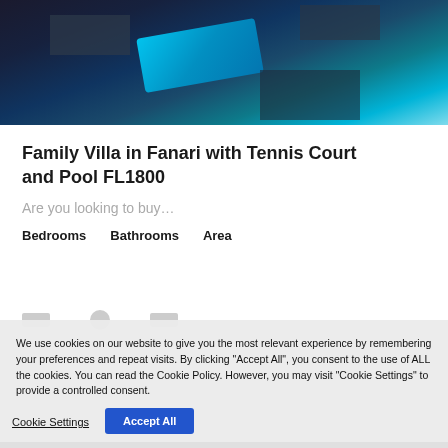[Figure (photo): Aerial night view of a villa with a glowing rectangular pool, surrounding structures and landscaping visible from above.]
Family Villa in Fanari with Tennis Court and Pool FL1800
Are you looking to buy...
Bedrooms   Bathrooms   Area
We use cookies on our website to give you the most relevant experience by remembering your preferences and repeat visits. By clicking “Accept All”, you consent to the use of ALL the cookies. You can read the Cookie Policy. However, you may visit “Cookie Settings” to provide a controlled consent.
Cookie Settings
Accept All